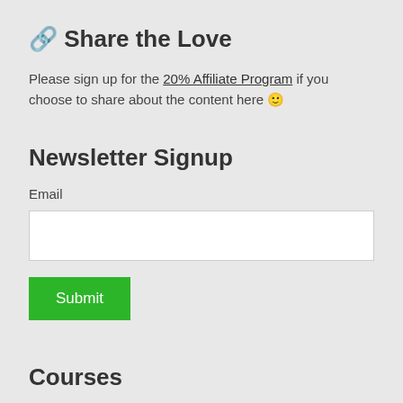🔗 Share the Love
Please sign up for the 20% Affiliate Program if you choose to share about the content here 🙂
Newsletter Signup
Email
[Figure (other): Email input text field (white rectangle)]
[Figure (other): Green Submit button]
Courses